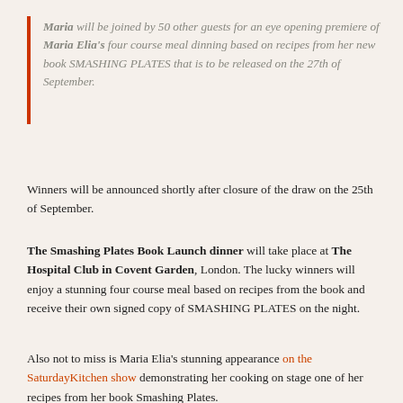Maria will be joined by 50 other guests for an eye opening premiere of Maria Elia's four course meal dinning based on recipes from her new book SMASHING PLATES that is to be released on the 27th of September.
Winners will be announced shortly after closure of the draw on the 25th of September.
The Smashing Plates Book Launch dinner will take place at The Hospital Club in Covent Garden, London. The lucky winners will enjoy a stunning four course meal based on recipes from the book and receive their own signed copy of SMASHING PLATES on the night.
Also not to miss is Maria Elia's stunning appearance on the SaturdayKitchen show demonstrating her cooking on stage one of her recipes from her book Smashing Plates.